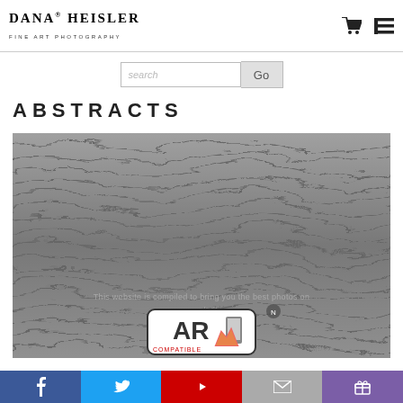DANA HEISLER FINE ART PHOTOGRAPHY
search Go
ABSTRACTS
[Figure (photo): Black and white close-up photograph of rippled sand dunes showing wavy texture patterns. An AR COMPATIBLE badge appears in the lower center. Watermark text reads: This website is compiled to bring you the best photos on our website.]
Facebook Twitter YouTube Mail Gift